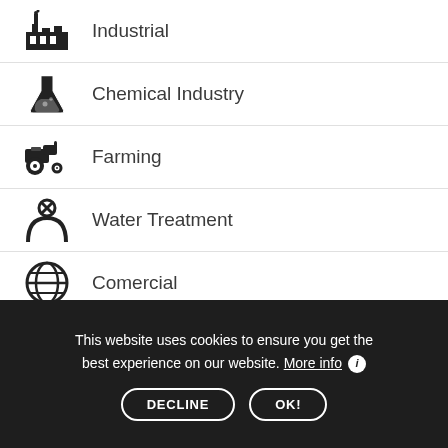Industrial
Chemical Industry
Farming
Water Treatment
Comercial
This website uses cookies to ensure you get the best experience on our website. More info ℹ